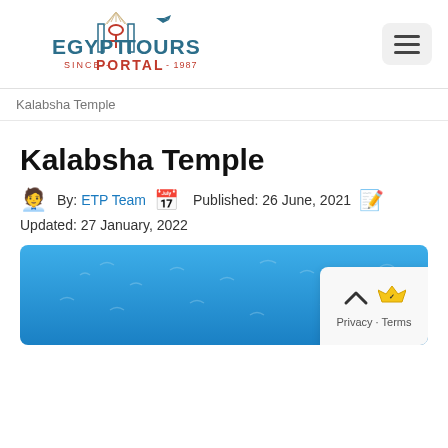[Figure (logo): Egypt Tours Portal logo - teal and red text with Egyptian cross symbol and airplane, text reads EGYPT TOURS PORTAL SINCE 1987]
Kalabsha Temple
Kalabsha Temple
By: ETP Team  Published: 26 June, 2021  Updated: 27 January, 2022
[Figure (photo): Blue underwater/aerial photograph used as hero image for Kalabsha Temple article]